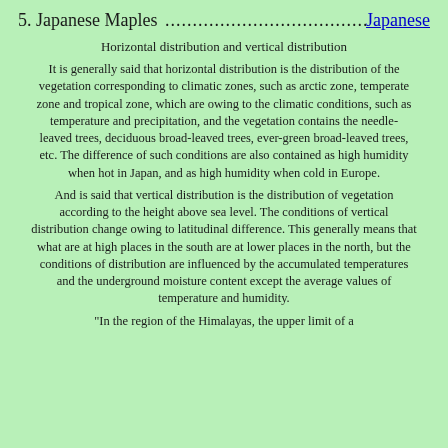5. Japanese Maples ........................................................ Japanese
Horizontal distribution and vertical distribution
It is generally said that horizontal distribution is the distribution of the vegetation corresponding to climatic zones, such as arctic zone, temperate zone and tropical zone, which are owing to the climatic conditions, such as temperature and precipitation, and the vegetation contains the needle-leaved trees, deciduous broad-leaved trees, ever-green broad-leaved trees, etc. The difference of such conditions are also contained as high humidity when hot in Japan, and as high humidity when cold in Europe.
And is said that vertical distribution is the distribution of vegetation according to the height above sea level. The conditions of vertical distribution change owing to latitudinal difference. This generally means that what are at high places in the south are at lower places in the north, but the conditions of distribution are influenced by the accumulated temperatures and the underground moisture content except the average values of temperature and humidity.
"In the region of the Himalayas, the upper limit of a